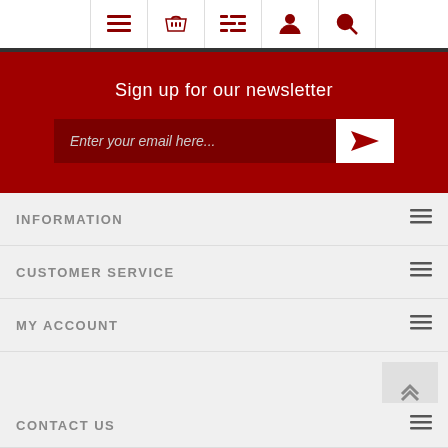[Figure (screenshot): Top navigation bar with hamburger menu, basket, list, user, and search icons in dark red]
Sign up for our newsletter
Enter your email here...
INFORMATION
CUSTOMER SERVICE
MY ACCOUNT
CONTACT US